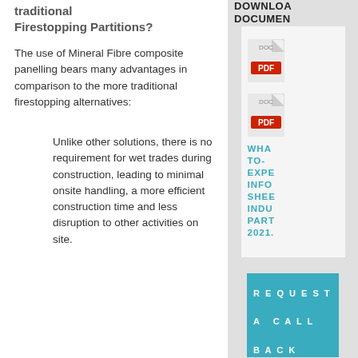Traditional Firestopping Partitions?
The use of Mineral Fibre composite panelling bears many advantages in comparison to the more traditional firestopping alternatives:
Unlike other solutions, there is no requirement for wet trades during construction, leading to minimal onsite handling, a more efficient construction time and less disruption to other activities on site.
DOWNLOAD DOCUMENTS
[Figure (other): PDF icon (red)]
[Figure (other): PDF icon (red) with linked document text: WHAT-TO-EXPECT INFO SHEET INDU PART 2021.]
WHAT-TO-EXPE INFO SHEE INDU PART 2021.
REQUEST A CALL BACK